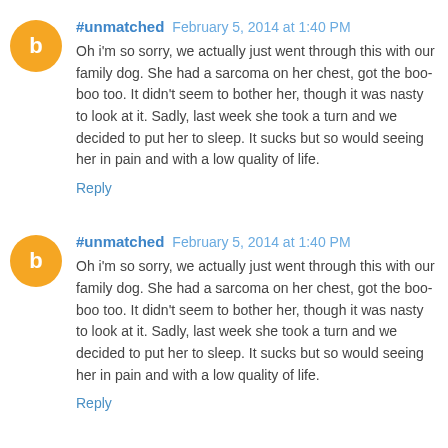#unmatched  February 5, 2014 at 1:40 PM
Oh i'm so sorry, we actually just went through this with our family dog. She had a sarcoma on her chest, got the boo-boo too. It didn't seem to bother her, though it was nasty to look at it. Sadly, last week she took a turn and we decided to put her to sleep. It sucks but so would seeing her in pain and with a low quality of life.
Reply
#unmatched  February 5, 2014 at 1:40 PM
Oh i'm so sorry, we actually just went through this with our family dog. She had a sarcoma on her chest, got the boo-boo too. It didn't seem to bother her, though it was nasty to look at it. Sadly, last week she took a turn and we decided to put her to sleep. It sucks but so would seeing her in pain and with a low quality of life.
Reply